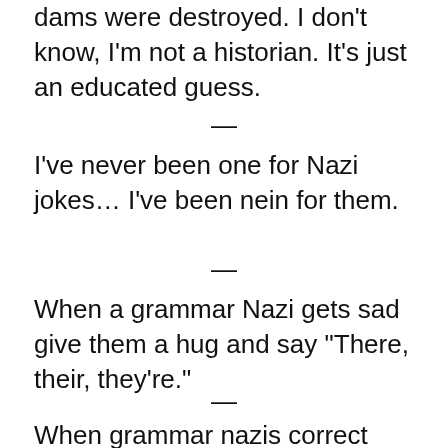dams were destroyed. I don't know, I'm not a historian. It's just an educated guess.
—
I've never been one for Nazi jokes… I've been nein for them.
—
When a grammar Nazi gets sad give them a hug and say “There, their, they're.”
—
When grammar nazis correct me, I start to